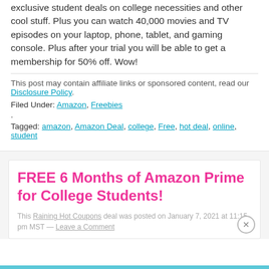That means you'll get FREE Two-Day Shipping and exclusive student deals on college necessities and other cool stuff. Plus you can watch 40,000 movies and TV episodes on your laptop, phone, tablet, and gaming console. Plus after your trial you will be able to get a membership for 50% off. Wow!
This post may contain affiliate links or sponsored content, read our Disclosure Policy.
Filed Under: Amazon, Freebies
Tagged: amazon, Amazon Deal, college, Free, hot deal, online, student
FREE 6 Months of Amazon Prime for College Students!
This Raining Hot Coupons deal was posted on January 7, 2021 at 11:15 pm MST — Leave a Comment